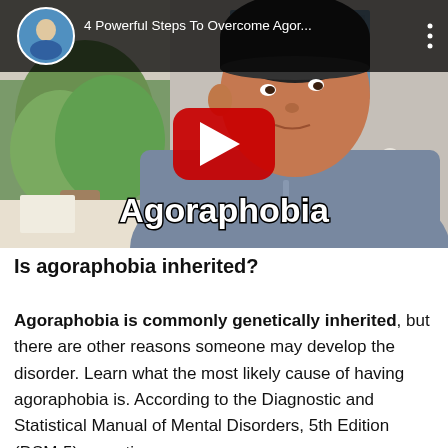[Figure (screenshot): YouTube video thumbnail showing a man wearing a black beanie and grey shirt, with text overlay 'Agoraphobia' and YouTube play button. Video title: '4 Powerful Steps To Overcome Agor...' with a small circular avatar of the presenter in the top left.]
Is agoraphobia inherited?
Agoraphobia is commonly genetically inherited, but there are other reasons someone may develop the disorder. Learn what the most likely cause of having agoraphobia is. According to the Diagnostic and Statistical Manual of Mental Disorders, 5th Edition (DSM-5), genetics...